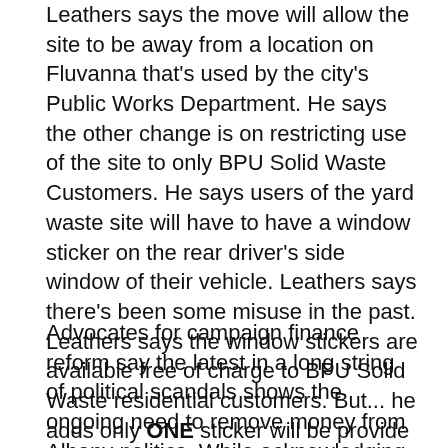Leathers says the move will allow the site to be away from a location on Fluvanna that's used by the city's Public Works Department.  He says the other change is on restricting use of the site to only BPU Solid Waste Customers.  He says users of the yard waste site will have to have a window sticker on the rear driver's side window of their vehicle.  Leathers says there's been some misuse in the past. Leathers says the window stickers are available free of charge to BPU Solid Waste residential customers.  But... he adds only ONE sticker will be provide to each customer account.
Advocates for campaign finance reform say the latest in a long string of political scandals shows the ongoing need to remove money from Albany politics.  While acknowledging the bribery charges Tuesday against state Sen. Malcolm Smith involve his effort to run for mayor of New York City, which already has public campaign financing, the government watchdog groups say they